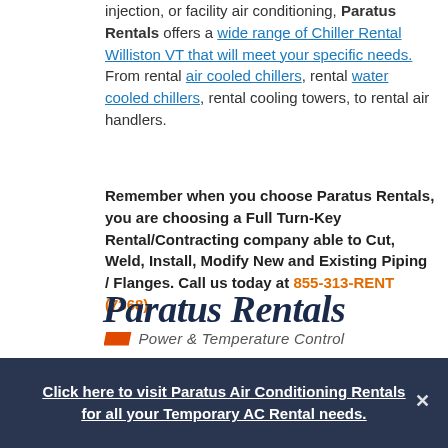injection, or facility air conditioning, Paratus Rentals offers a wide range of Chiller Rental Williston VT that will meet your specific needs. From rental air cooled chillers, rental water cooled chillers, rental cooling towers, to rental air handlers.
Remember when you choose Paratus Rentals, you are choosing a Full Turn-Key Rental/Contracting company able to Cut, Weld, Install, Modify New and Existing Piping / Flanges. Call us today at 855-313-RENT (7368)
[Figure (logo): Paratus Rentals logo with italic serif text 'Paratus Rentals' in dark navy blue, and below it an orange parallelogram badge followed by italic sans-serif text 'Power & Temperature Control' in gray.]
Click here to visit Paratus Air Conditioning Rentals for all your Temporary AC Rental needs.